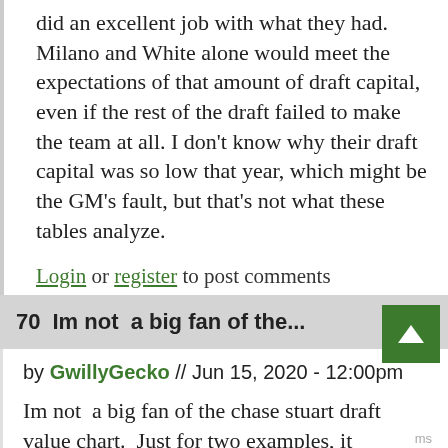did an excellent job with what they had. Milano and White alone would meet the expectations of that amount of draft capital, even if the rest of the draft failed to make the team at all. I don't know why their draft capital was so low that year, which might be the GM's fault, but that's not what these tables analyze.
Login or register to post comments
70  Im not  a big fan of the...
by GwillyGecko // Jun 15, 2020 - 12:00pm
Im not  a big fan of the chase stuart draft value chart.  Just for two examples, it considers the